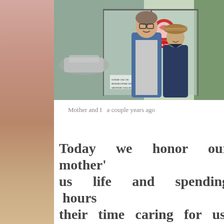[Figure (photo): Photo of two people — a tall man with glasses and mustache in a blue jacket, and an older woman in a brown hat and dark jacket — standing in front of a store entrance with glass doors. The store has a red circular logo. A parking lot is visible in the background.]
Mother and I  a couple years ago
Today we honor our mother's life and spending hours their time caring for us. Currently taking care of my mother as